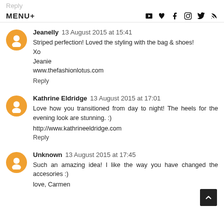Reply
MENU+
Jeanelly  13 August 2015 at 15:41
Striped perfection! Loved the styling with the bag & shoes!
Xo
Jeanie
www.thefashionlotus.com
Reply
Kathrine Eldridge  13 August 2015 at 17:01
Love how you transitioned from day to night! The heels for the evening look are stunning. :)
http://www.kathrineeldridge.com
Reply
Unknown  13 August 2015 at 17:45
Such an amazing idea! I like the way you have changed the accesories :)
love, Carmen